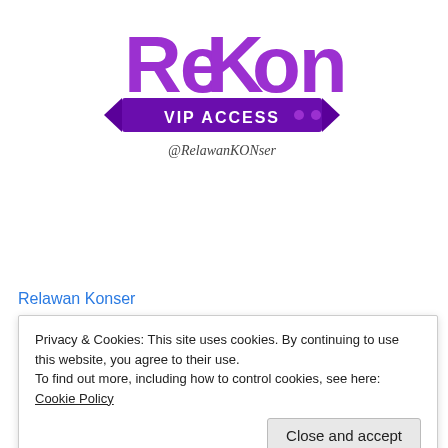[Figure (logo): ReKon VIP ACCESS logo with purple stylized text and banner, with '@RelawanKONser' handwritten text below]
Relawan Konser
Privacy & Cookies: This site uses cookies. By continuing to use this website, you agree to their use.
To find out more, including how to control cookies, see here: Cookie Policy
Close and accept